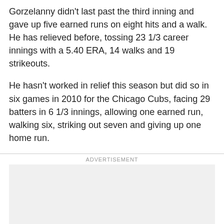Gorzelanny didn't last past the third inning and gave up five earned runs on eight hits and a walk. He has relieved before, tossing 23 1/3 career innings with a 5.40 ERA, 14 walks and 19 strikeouts.
He hasn't worked in relief this season but did so in six games in 2010 for the Chicago Cubs, facing 29 batters in 6 1/3 innings, allowing one earned run, walking six, striking out seven and giving up one home run.
ADVERTISEMENT
[Figure (other): Advertisement placeholder box with light gray background]